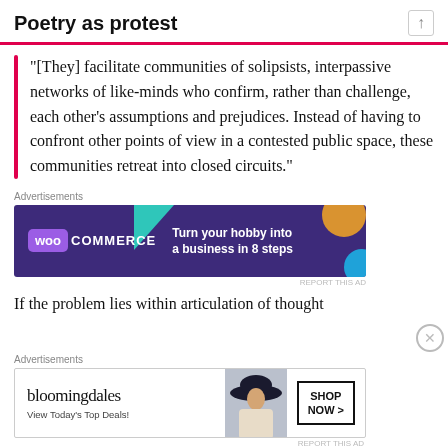Poetry as protest
“[They] facilitate communities of solipsists, interpassive networks of like-minds who confirm, rather than challenge, each other’s assumptions and prejudices. Instead of having to confront other points of view in a contested public space, these communities retreat into closed circuits.”
[Figure (other): WooCommerce advertisement banner: dark purple background with teal and orange geometric shapes, WooCommerce logo on the left, text reading 'Turn your hobby into a business in 8 steps' on the right.]
If the problem lies within articulation of thought
[Figure (other): Bloomingdale's advertisement banner: white background with Bloomingdale's cursive logo, text 'View Today’s Top Deals!', image of woman in wide-brim hat, and 'SHOP NOW >' button.]